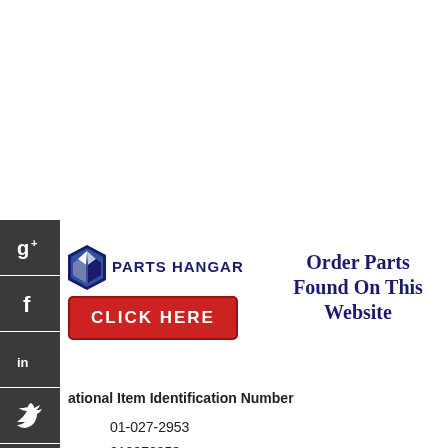[Figure (logo): Parts Hangar logo with chevron and 'CLICK HERE' button, plus 'Order Parts Found On This Website' text]
ational Item Identification Number
01-027-2953
010272953
5905-01-027-2953